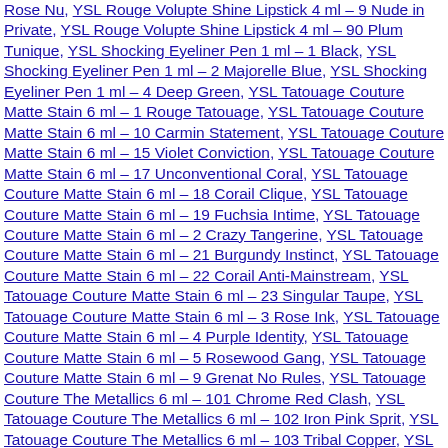Rose Nu, YSL Rouge Volupte Shine Lipstick 4 ml – 9 Nude in Private, YSL Rouge Volupte Shine Lipstick 4 ml – 90 Plum Tunique, YSL Shocking Eyeliner Pen 1 ml – 1 Black, YSL Shocking Eyeliner Pen 1 ml – 2 Majorelle Blue, YSL Shocking Eyeliner Pen 1 ml – 4 Deep Green, YSL Tatouage Couture Matte Stain 6 ml – 1 Rouge Tatouage, YSL Tatouage Couture Matte Stain 6 ml – 10 Carmin Statement, YSL Tatouage Couture Matte Stain 6 ml – 15 Violet Conviction, YSL Tatouage Couture Matte Stain 6 ml – 17 Unconventional Coral, YSL Tatouage Couture Matte Stain 6 ml – 18 Corail Clique, YSL Tatouage Couture Matte Stain 6 ml – 19 Fuchsia Intime, YSL Tatouage Couture Matte Stain 6 ml – 2 Crazy Tangerine, YSL Tatouage Couture Matte Stain 6 ml – 21 Burgundy Instinct, YSL Tatouage Couture Matte Stain 6 ml – 22 Corail Anti-Mainstream, YSL Tatouage Couture Matte Stain 6 ml – 23 Singular Taupe, YSL Tatouage Couture Matte Stain 6 ml – 3 Rose Ink, YSL Tatouage Couture Matte Stain 6 ml – 4 Purple Identity, YSL Tatouage Couture Matte Stain 6 ml – 5 Rosewood Gang, YSL Tatouage Couture Matte Stain 6 ml – 9 Grenat No Rules, YSL Tatouage Couture The Metallics 6 ml – 101 Chrome Red Clash, YSL Tatouage Couture The Metallics 6 ml – 102 Iron Pink Sprit, YSL Tatouage Couture The Metallics 6 ml – 103 Tribal Copper, YSL Tatouage Couture The Metallics 6 ml – 104 Rose Gold Riot, YSL Tatouage Couture The Metallics 6 ml – 105 Magnetic Prune Temper, YSL Tatouage Couture The Metallics 6 ml – 106 Gilded…